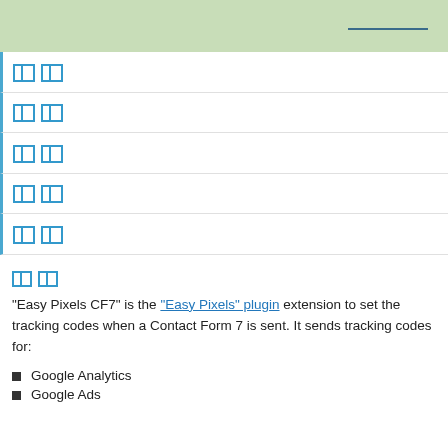□□
□□
□□
□□
□□
□□
"Easy Pixels CF7" is the "Easy Pixels" plugin extension to set the tracking codes when a Contact Form 7 is sent. It sends tracking codes for:
Google Analytics
Google Ads